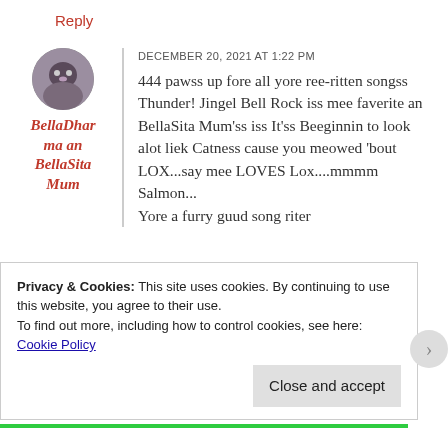Reply
BellaDharma an BellaSita Mum
DECEMBER 20, 2021 AT 1:22 PM
444 pawss up fore all yore ree-ritten songss Thunder! Jingel Bell Rock iss mee faverite an BellaSita Mum'ss iss It'ss Beeginnin to look alot liek Catness cause you meowed 'bout LOX...say mee LOVES Lox....mmmm Salmon...
Yore a furry guud song riter
Privacy & Cookies: This site uses cookies. By continuing to use this website, you agree to their use.
To find out more, including how to control cookies, see here:
Cookie Policy
Close and accept